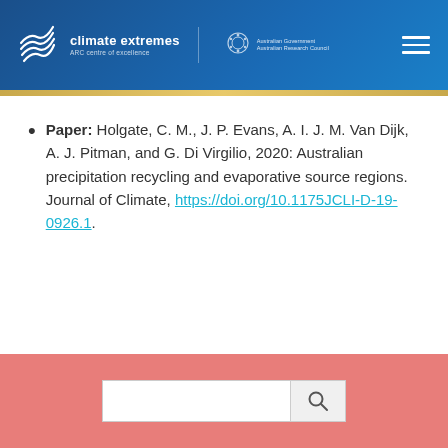climate extremes ARC centre of excellence | Australian Government Australian Research Council
Paper: Holgate, C. M., J. P. Evans, A. I. J. M. Van Dijk, A. J. Pitman, and G. Di Virgilio, 2020: Australian precipitation recycling and evaporative source regions. Journal of Climate, https://doi.org/10.1175JCLI-D-19-0926.1.